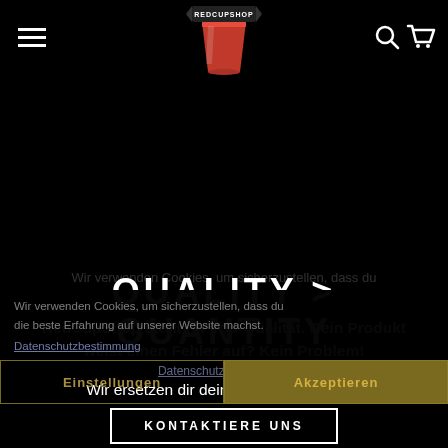RedCupShop navigation header with hamburger menu, logo, search and cart icons
QUALITY > QUANTITY
RedCupShop steht für Top-Qualität. Dein Produkt weist einen Fehler auf? Kein Problem!
Wir ersetzen dir dein Produkt kostenfrei.
Wir verwenden Cookies, um sicherzustellen, dass du die beste Erfahrung auf unserer Website machst.
Datenschutzbestimmung
Einstellungen
Akzeptieren
KONTAKTIERE UNS